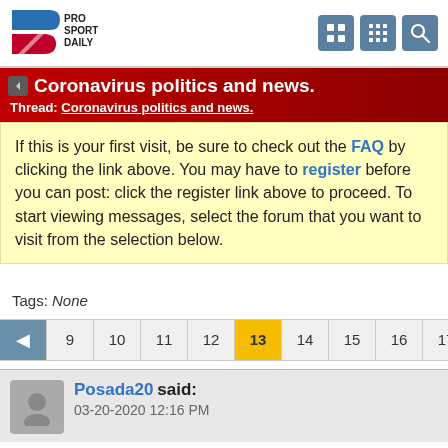Pro Sports Daily
Coronavirus politics and news.
Thread: Coronavirus politics and news.
If this is your first visit, be sure to check out the FAQ by clicking the link above. You may have to register before you can post: click the register link above to proceed. To start viewing messages, select the forum that you want to visit from the selection below.
Tags: None
Posada20 said: 03-20-2020 12:16 PM
Originally Posted by rrzubnyy
If the death rate was higher then you'd have a point.